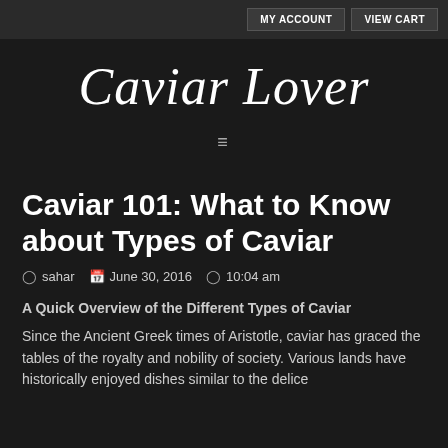MY ACCOUNT  VIEW CART
Caviar Lover
≡
Caviar 101: What to Know about Types of Caviar
sahar  June 30, 2016  10:04 am
A Quick Overview of the Different Types of Caviar
Since the Ancient Greek times of Aristotle, caviar has graced the tables of the royalty and nobility of society. Various lands have historically enjoyed dishes similar to the delice...